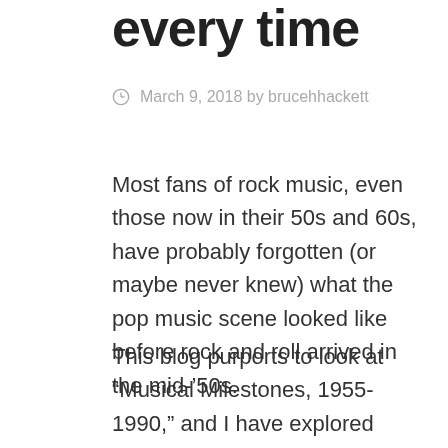every time
March 9, 2018 by brucehhackett
Most fans of rock music, even those now in their 50s and 60s, have probably forgotten (or maybe never knew) what the pop music scene looked like before rock and roll arrived in the mid-'50s.
This blog purports to look at “Musical Milestones, 1955-1990,” and I have explored virtually every sub-group from those three-plus decades:  early rock and roll (Chuck Berry, Elvis Presley);  the blues (Howlin’ Wolf, The Allman Brothers);  surf music (The Beach